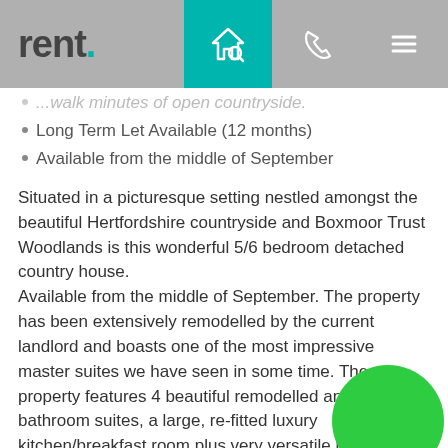rent.
...walk minutes of open countryside.
Long Term Let Available (12 months)
Available from the middle of September
Situated in a picturesque setting nestled amongst the beautiful Hertfordshire countryside and Boxmoor Trust Woodlands is this wonderful 5/6 bedroom detached country house. Available from the middle of September. The property has been extensively remodelled by the current landlord and boasts one of the most impressive master suites we have seen in some time. The property features 4 beautiful remodelled and refitted lu... bathroom suites, a large, re-fitted luxury kitchen/breakfast room plus very versatile living...